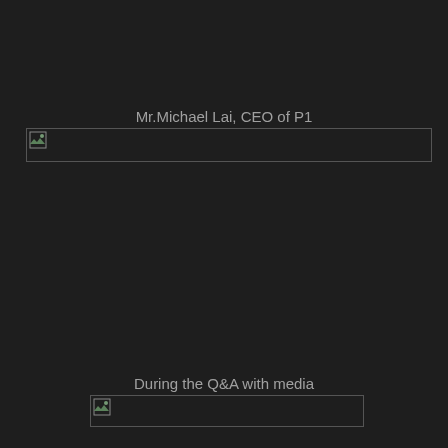Mr.Michael Lai, CEO of P1
[Figure (photo): Image placeholder with broken image icon - photo of Mr. Michael Lai, CEO of P1]
During the Q&A with media
[Figure (photo): Image placeholder with broken image icon - photo during Q&A with media]